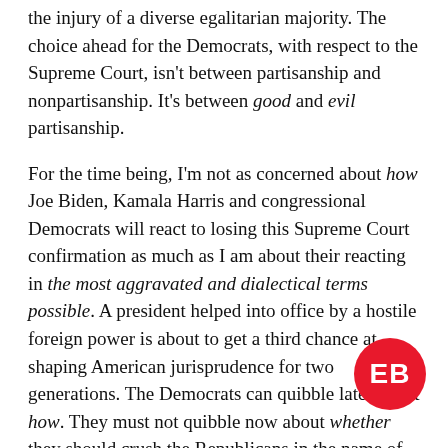the injury of a diverse egalitarian majority. The choice ahead for the Democrats, with respect to the Supreme Court, isn't between partisanship and nonpartisanship. It's between good and evil partisanship.
For the time being, I'm not as concerned about how Joe Biden, Kamala Harris and congressional Democrats will react to losing this Supreme Court confirmation as much as I am about their reacting in the most aggravated and dialectical terms possible. A president helped into office by a hostile foreign power is about to get a third chance at shaping American jurisprudence for two generations. The Democrats can quibble later about how. They must not quibble now about whether they should crush the Republicans in the name of God and country. Yes, there's much to say about expanding the number of Supreme Court justices, expanding the number of lower courts, repealing lifetime appointments, or (my favorite) stripping justices of the power to decide which cases to hear. All of that is worth debating, but it's not possible to debate any of white liberal voters, especially, do not recognize fir Republicans can no longer be trusted to act in good and second, that the GOP's power is proportional to white
[Figure (logo): Red circular EB logo watermark in bottom right corner]